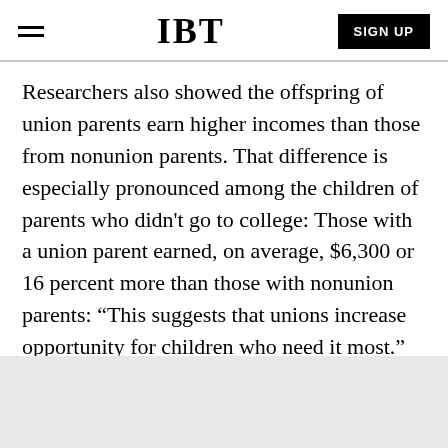IBT | SIGN UP
Researchers also showed the offspring of union parents earn higher incomes than those from nonunion parents. That difference is especially pronounced among the children of parents who didn't go to college: Those with a union parent earned, on average, $6,300 or 16 percent more than those with nonunion parents: “This suggests that unions increase opportunity for children who need it most.”